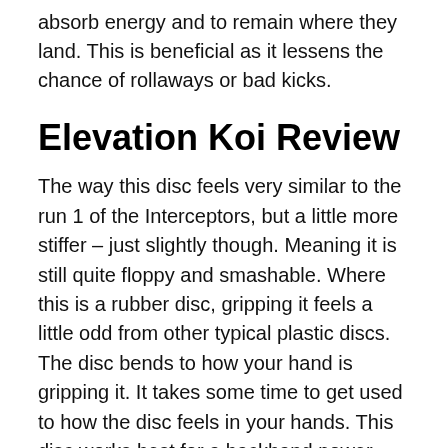absorb energy and to remain where they land. This is beneficial as it lessens the chance of rollaways or bad kicks.
Elevation Koi Review
The way this disc feels very similar to the run 1 of the Interceptors, but a little more stiffer – just slightly though. Meaning it is still quite floppy and smashable. Where this is a rubber disc, gripping it feels a little odd from other typical plastic discs. The disc bends to how your hand is gripping it. It takes some time to get used to how the disc feels in your hands. This disc works best for a backhand power grip, it is difficult for me to throw forehand. It folds out of my hand too often when I try forehand throws.
The flight path of this is straight with a gentle fade at the end. It is a low turn, the same as a similar at to...